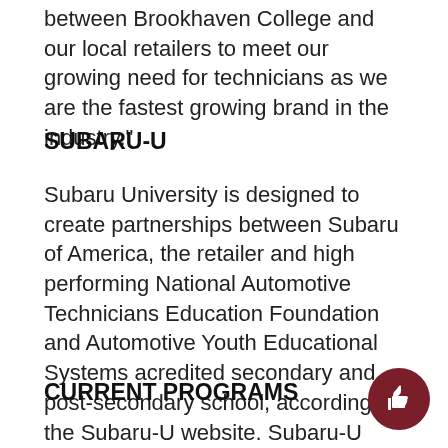between Brookhaven College and our local retailers to meet our growing need for technicians as we are the fastest growing brand in the industry."
SUBARU-U
Subaru University is designed to create partnerships between Subaru of America, the retailer and high performing National Automotive Technicians Education Foundation and Automotive Youth Educational Systems acredited secondary and post-secondary school, according to the Subaru-U website. Subaru-U partner schools can gain knowledge of Subaru vehicle systems that can better prepare their students for employment in approximately 600 Subaru retailers nationwide.
CURRENT PROGRAMS